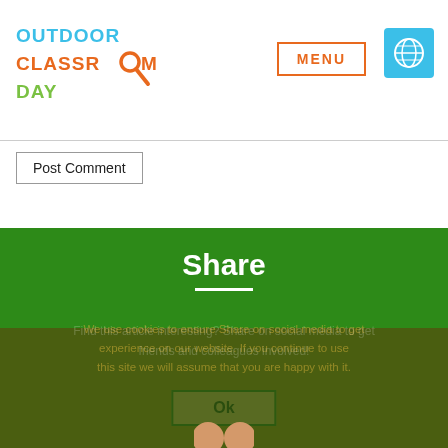[Figure (logo): Outdoor Classroom Day logo with magnifier icon in blue, orange, and green]
[Figure (other): MENU button in orange border and globe icon in blue square]
Post Comment
Share
Find this article interesting? Share on social media to get experience on our website. If you continue to use this site we will assume that you are happy with it.
We use cookies to ensure Share on social media to get friends and colleagues involved!
Ok